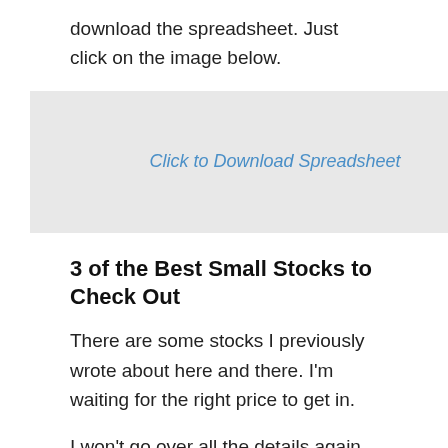download the spreadsheet. Just click on the image below.
[Figure (other): Clickable image placeholder with text 'Click to Download Spreadsheet']
3 of the Best Small Stocks to Check Out
There are some stocks I previously wrote about here and there. I'm waiting for the right price to get in.
I won't go over all the details again as the commentary links are provided below.